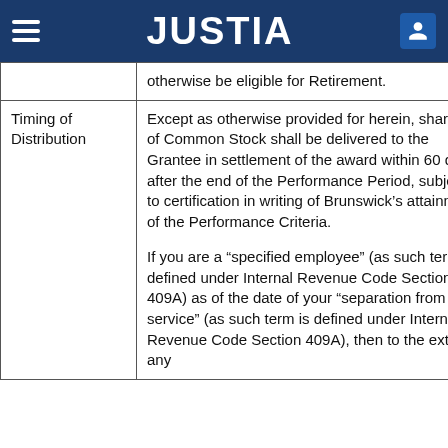JUSTIA
|  | otherwise be eligible for Retirement. |
| Timing of Distribution | Except as otherwise provided for herein, shares of Common Stock shall be delivered to the Grantee in settlement of the award within 60 days after the end of the Performance Period, subject to certification in writing of Brunswick’s attainment of the Performance Criteria.

If you are a “specified employee” (as such term is defined under Internal Revenue Code Section 409A) as of the date of your “separation from service” (as such term is defined under Internal Revenue Code Section 409A), then to the extent any |